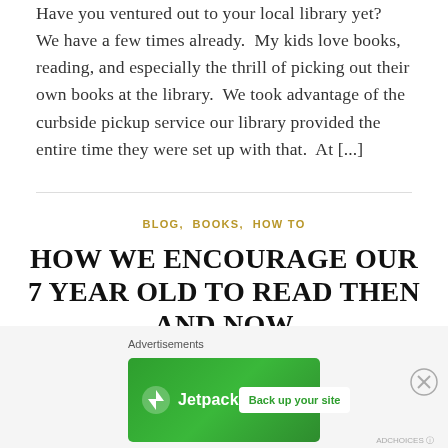Have you ventured out to your local library yet?  We have a few times already.  My kids love books, reading, and especially the thrill of picking out their own books at the library.  We took advantage of the curbside pickup service our library provided the entire time they were set up with that.  At [...]
BLOG, BOOKS, HOW TO
HOW WE ENCOURAGE OUR 7 YEAR OLD TO READ THEN AND NOW
LEAVE A COMMENT
[Figure (other): Jetpack advertisement banner with green background showing Jetpack logo on left and 'Back up your site' button on right, with 'Advertisements' label above and close (X) button.]